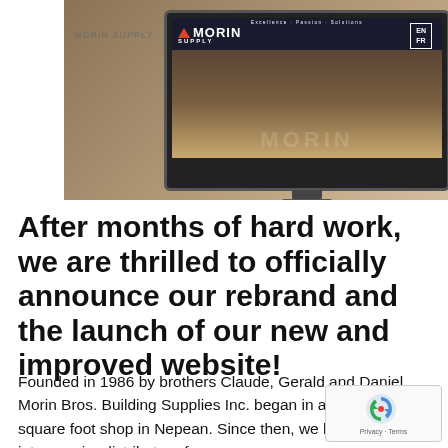[Figure (screenshot): Screenshot of Morin Supply website displayed on a computer monitor. Shows the Morin Supply logo with a red triangle, navigation with EN/FR language options, and a dark aerial photograph background with the tagline 'Excellence Passion Solutions'.]
After months of hard work, we are thrilled to officially announce our rebrand and the launch of our new and improved website!
Founded in 1986 by brothers Claude, Gerald and Daniel, Morin Bros. Building Supplies Inc. began in a modest 4,800 square foot shop in Nepean. Since then, we have grown into a major distributor of